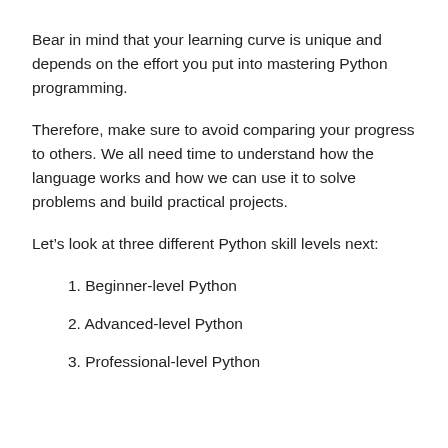Bear in mind that your learning curve is unique and depends on the effort you put into mastering Python programming.
Therefore, make sure to avoid comparing your progress to others. We all need time to understand how the language works and how we can use it to solve problems and build practical projects.
Let’s look at three different Python skill levels next:
1. Beginner-level Python
2. Advanced-level Python
3. Professional-level Python